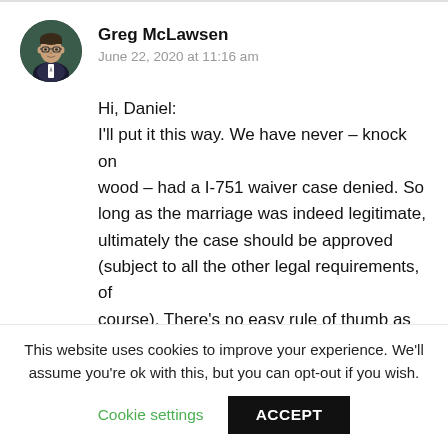[Figure (photo): Circular avatar photo of Greg McLawsen, a man wearing glasses and a suit jacket]
Greg McLawsen
June 22, 2020 at 11:16 am
Hi, Daniel:
I'll put it this way. We have never – knock on wood – had a I-751 waiver case denied. So long as the marriage was indeed legitimate, ultimately the case should be approved (subject to all the other legal requirements, of course). There's no easy rule of thumb as to how much evidence is required. But err on the side of filing a *lot* of evidence, since USCIS
This website uses cookies to improve your experience. We'll assume you're ok with this, but you can opt-out if you wish.
Cookie settings
ACCEPT